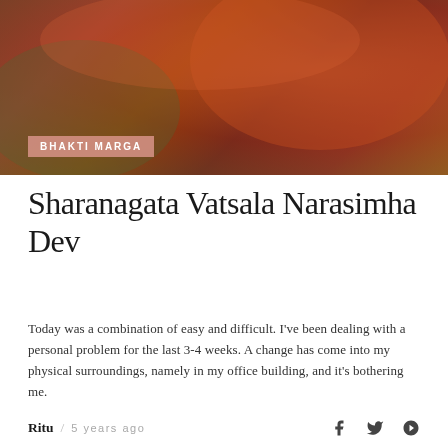[Figure (photo): Close-up photograph with warm red/orange tones, blurred background suggesting a devotional or cultural scene]
BHAKTI MARGA
Sharanagata Vatsala Narasimha Dev
Today was a combination of easy and difficult. I've been dealing with a personal problem for the last 3-4 weeks. A change has come into my physical surroundings, namely in my office building, and it's bothering me.
Ritu / 5 years ago
[Figure (photo): Colorful photo showing decorative lights and festive decorations in red, pink and gold tones]